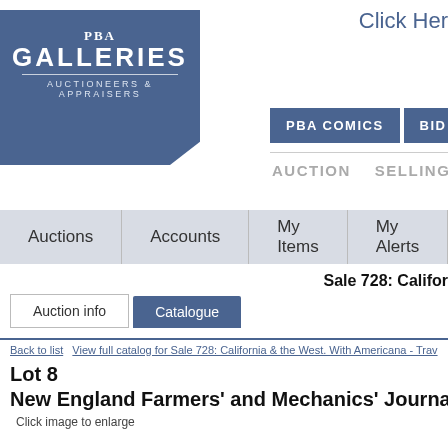[Figure (logo): PBA Galleries - Auctioneers & Appraisers logo on blue background]
Click Her
PBA COMICS   BID NOW
AUCTION   SELLING   B
Auctions | Accounts | My Items | My Alerts | S
Sale 728: Califor
Auction info   Catalogue
Back to list   View full catalog for Sale 728: California & the West. With Americana - Trav
Lot 8
New England Farmers' and Mechanics' Journal 182
Click image to enlarge